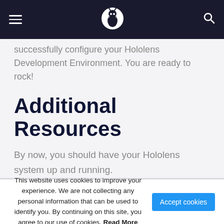successfully configure your Hololens Development Environment. You are ready to rock!
Additional Resources
By now, you should have your Hololens system up and running.
This website uses cookies to improve your experience. We are not collecting any personal information that can be used to identify you. By continuing on this site, you agree to our use of cookies. Read More  Accept cookies